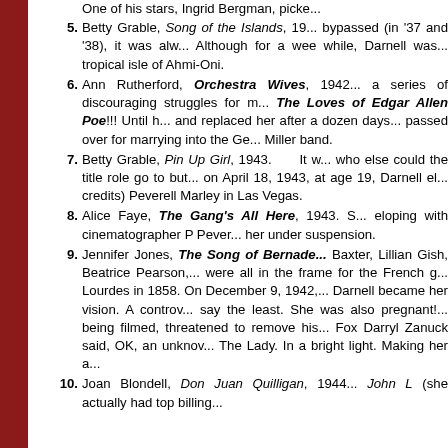Betty Grable, Song of the Islands, 19... bypassed (in '37 and '38), it was alw... Although for a wee while, Darnell was... tropical isle of Ahmi-Oni.
Ann Rutherford, Orchestra Wives, 1942... a series of discouraging struggles for m... The Loves of Edgar Allen Poe!!! Until h... and replaced her after a dozen days... passed over for marrying into the Ge... Miller band.
Betty Grable, Pin Up Girl, 1943. It w... who else could the title role go to but... on April 18, 1943, at age 19, Darnell el... credits) Peverell Marley in Las Vegas.
Alice Faye, The Gang's All Here, 1943. S... eloping with cinematographer P Pever... her under suspension.
Jennifer Jones, The Song of Bernade... Baxter, Lillian Gish, Beatrice Pearson,... were all in the frame for the French g... Lourdes in 1858. On December 9, 1942,... Darnell became her vision. A controv... say the least. She was also pregnant!... being filmed, threatened to remove his... Fox Darryl Zanuck said, OK, an unknov... The Lady. In a bright light. Making her a...
Joan Blondell, Don Juan Quilligan, 1944... John L (she actually had top billing...